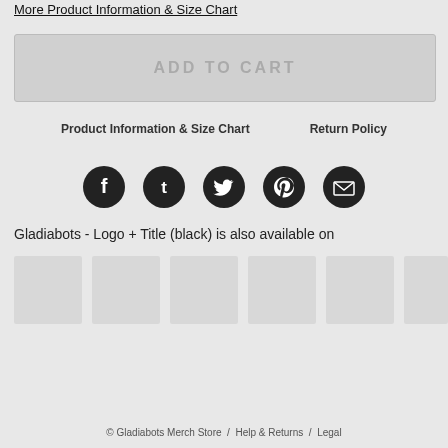More Product Information & Size Chart
ADD TO CART
Product Information & Size Chart    Return Policy
[Figure (infographic): Five social media icon buttons: Facebook, Tumblr, Twitter, Pinterest, Email — dark circles with white icons]
Gladiabots - Logo + Title (black) is also available on
[Figure (photo): Row of six product thumbnail images, mostly blank/grey placeholders]
© Gladiabots Merch Store  /  Help & Returns  /  Legal